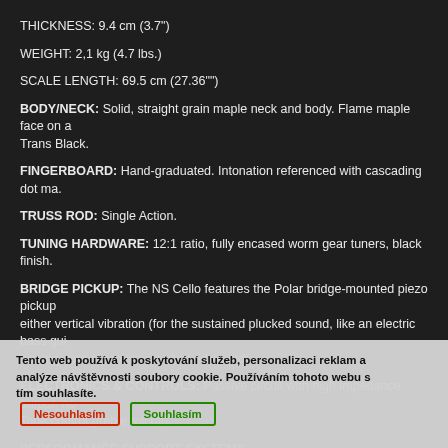THICKNESS: 9.4 cm (3.7")
WEIGHT: 2,1 kg (4.7 lbs.)
SCALE LENGTH: 69.5 cm (27.36"")
BODY/NECK: Solid, straight grain maple neck and body. Flame maple face on a Trans Black.
FINGERBOARD: Hand-graduated. Intonation referenced with cascading dot ma.
TRUSS ROD: Single Action.
TUNING HARDWARE: 12:1 ratio, fully encased worm gear tuners, black finish.
BRIDGE PICKUP: The NS Cello features the Polar bridge-mounted piezo pickup either vertical vibration (for the sustained plucked sound, like an electric bass gui bowing, and a percussive plucked sound).
ELECTRONICS & CONTROLS: Passive circuit with high impedance output, no Tone control (treble roll off).
PERFORMANCE SUPPORT SYSTEMS
Tento web používá k poskytování služeb, personalizaci reklam a analýze návštěvnosti soubory cookie. Používáním tohoto webu s tím souhlasíte.
Nesouhlasím
Souhlasím